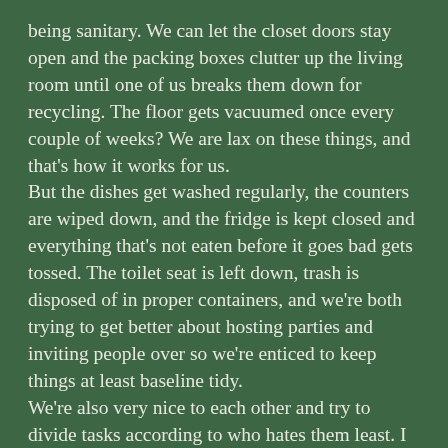being sanitary. We can let the closet doors stay open and the packing boxes clutter up the living room until one of us breaks them down for recycling. The floor gets vacuumed once every couple of weeks? We are lax on these things, and that's how it works for us.
But the dishes get washed regularly, the counters are wiped down, and the fridge is kept closed and everything that's not eaten before it goes bad gets tossed. The toilet seat is left down, trash is disposed of in proper containers, and we're both trying to get better about hosting parties and inviting people over so we're enticed to keep things at least baseline tidy.
We're also very nice to each other and try to divide tasks according to who hates them least. I cook because I love it. He folds laundry because he's better about doing that sort of chore in front of the TV whereas it just gives me hives. We